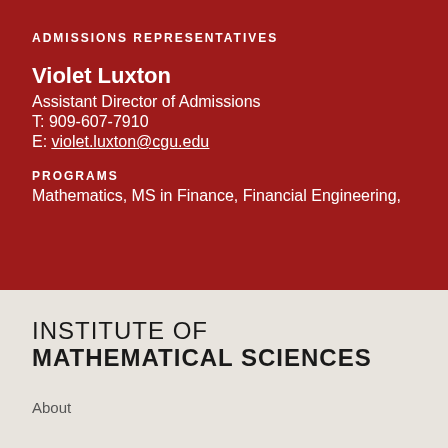ADMISSIONS REPRESENTATIVES
Violet Luxton
Assistant Director of Admissions
T: 909-607-7910
E: violet.luxton@cgu.edu
PROGRAMS
Mathematics, MS in Finance, Financial Engineering,
INSTITUTE OF MATHEMATICAL SCIENCES
About